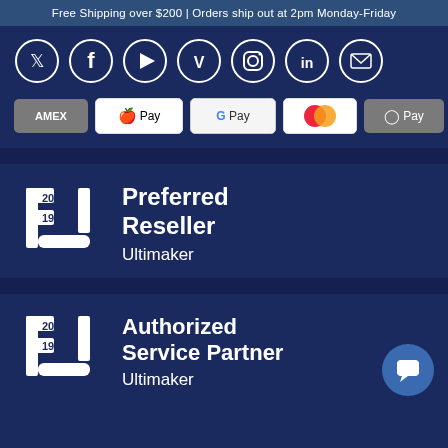Free Shipping over $200 | Orders ship out at 2pm Monday-Friday
[Figure (infographic): Social media icons in circles: Twitter, Facebook, YouTube, Vimeo, Instagram, LinkedIn, Email]
[Figure (infographic): Payment method badges: AMEX, Apple Pay, Google Pay, Mastercard, O Pay, VISA]
[Figure (logo): Ultimaker 2019 Preferred Reseller badge with U logo]
Preferred Reseller
Ultimaker
[Figure (logo): Ultimaker 2019 Authorized Service Partner badge with U logo]
Authorized Service Partner
Ultimaker